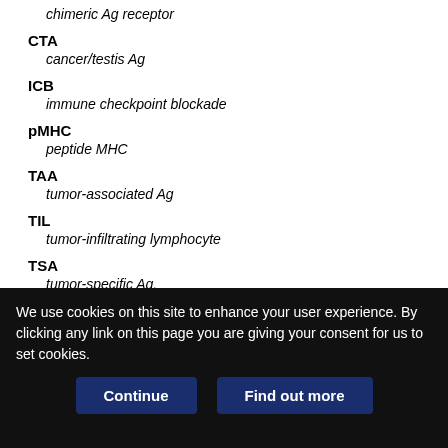chimeric Ag receptor
CTA
  cancer/testis Ag
ICB
  immune checkpoint blockade
pMHC
  peptide MHC
TAA
  tumor-associated Ag
TIL
  tumor-infiltrating lymphocyte
TSA
  tumor-specific Ag.
Received October 10, 2017.
We use cookies on this site to enhance your user experience. By clicking any link on this page you are giving your consent for us to set cookies.